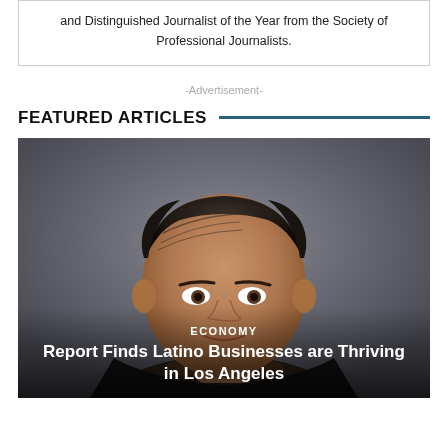and Distinguished Journalist of the Year from the Society of Professional Journalists.
-Advertisement-
FEATURED ARTICLES
[Figure (photo): Head and shoulders photo of a man with dark slicked-back hair against a grey background, with overlay text showing 'ECONOMY' and article title]
ECONOMY
Report Finds Latino Businesses are Thriving in Los Angeles